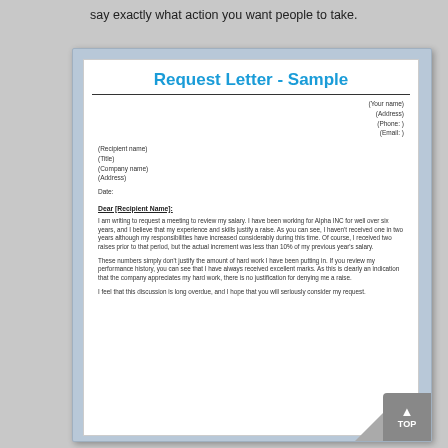say exactly what action you want people to take.
Request Letter - Sample
(Your name)
(Address)
(Phone: )
(Email: )
(Recipient name)
(Title)
(Company name)
(Address)
Date:
Dear [Recipient Name]:
I am writing to request a meeting to review my salary. I have been working for Alpha INC for well over six years, and I believe that my experience and skills justify a raise. As you can see, I haven't received one in two years although my responsibilities have increased considerably during this time. Of course, I received two raises prior to that period, but the actual increment was less than 10% of my previous year's salary.
These numbers simply don't justify the amount of hard work I have been putting in. If you review my performance history, you can see that I have always received excellent marks. As this is clearly an indication that the company appreciates my hard work, there is no justification for denying me a raise.
I feel that this discussion is long overdue, and I hope that you will seriously consider my request.